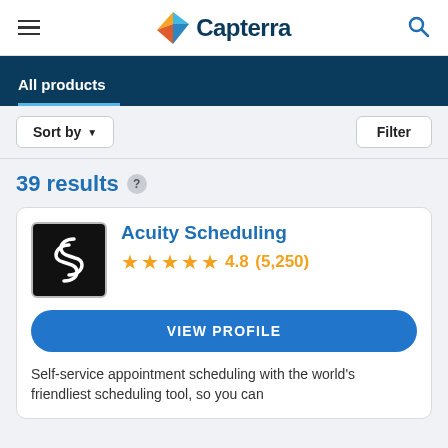Capterra
All products
Sort by  Filter
39 results
Acuity Scheduling
4.8 (5,250)
VIEW PROFILE
Self-service appointment scheduling with the world's friendliest scheduling tool, so you can